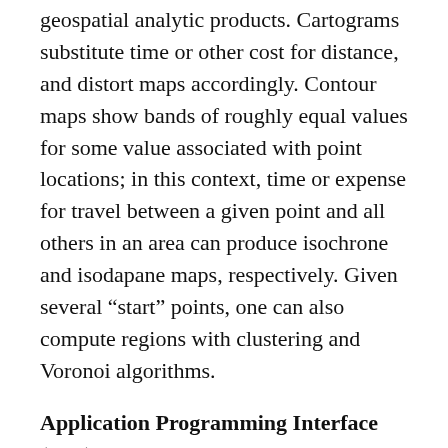geospatial analytic products. Cartograms substitute time or other cost for distance, and distort maps accordingly. Contour maps show bands of roughly equal values for some value associated with point locations; in this context, time or expense for travel between a given point and all others in an area can produce isochrone and isodapane maps, respectively. Given several “start” points, one can also compute regions with clustering and Voronoi algorithms.
Application Programming Interface (API)
The internal API for ORBIS:Rome has not been documented for external access, but for OiB it could be. The number of allowed parameters may determine its usability. You can see what